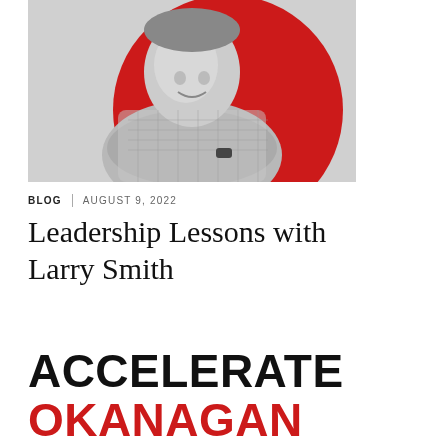[Figure (photo): Black and white portrait photo of Larry Smith, a man with crossed arms wearing a plaid/checkered shirt, against a red circular background]
BLOG | AUGUST 9, 2022
Leadership Lessons with Larry Smith
[Figure (logo): Accelerate Okanagan logo — ACCELERATE in black bold uppercase, OKANAGAN in red bold uppercase]